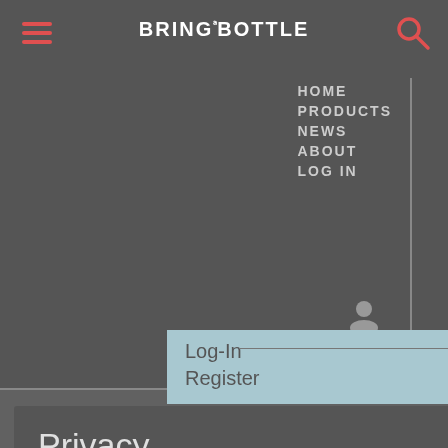BRING A BOTTLE - Navigation header with hamburger menu, logo, and search icon
HOME
PRODUCTS
NEWS
ABOUT
LOG IN
Log-In
Register
Privacy
Bring a Bottle uses cookies to improve user experiences Privacy policy
[Figure (screenshot): Social media share buttons: Facebook (blue), Twitter (light blue), WhatsApp (green)]